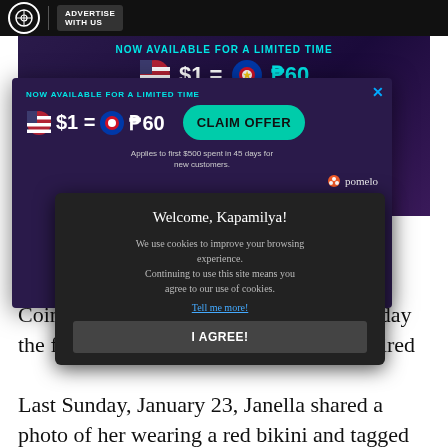ADVERTISE WITH US
[Figure (infographic): Ad banner: NOW AVAILABLE FOR A LIMITED TIME $1 = ₱60 with US and Philippine flags, dark purple background]
[Figure (infographic): Popup overlay ad: NOW AVAILABLE FOR A LIMITED TIME $1 = ₱60, CLAIM OFFER button, Applies to first $500 spent in 45 days for new customers. Pomelo logo. Close X button.]
[Figure (screenshot): Cookie consent popup: Welcome, Kapamilya! We use cookies to improve your browsing experience. Continuing to use this site means you agree to our use of cookies. Tell me more! I AGREE! button.]
Coincidentally ... acay on the day the for... with Joshua Garcia aired...
Last Sunday, January 23, Janella shared a photo of her wearing a red bikini and tagged the Ambassador in